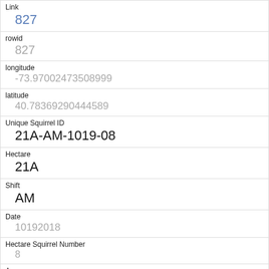| Link | 827 |
| rowid | 827 |
| longitude | -73.97002473508999 |
| latitude | 40.78369290444589 |
| Unique Squirrel ID | 21A-AM-1019-08 |
| Hectare | 21A |
| Shift | AM |
| Date | 10192018 |
| Hectare Squirrel Number | 8 |
| Age | Adult |